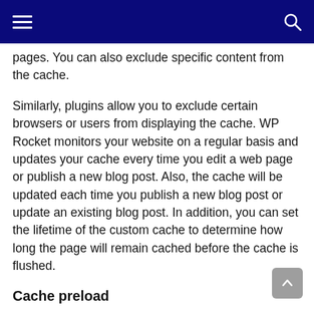Navigation bar with hamburger menu and search icon
pages. You can also exclude specific content from the cache.
Similarly, plugins allow you to exclude certain browsers or users from displaying the cache. WP Rocket monitors your website on a regular basis and updates your cache every time you edit a web page or publish a new blog post. Also, the cache will be updated each time you publish a new blog post or update an existing blog post. In addition, you can set the lifetime of the custom cache to determine how long the page will remain cached before the cache is flushed.
Cache preload